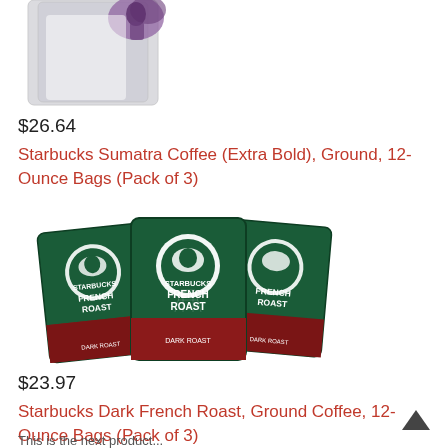[Figure (photo): Partial view of Starbucks Sumatra coffee bag at the top of the page, cut off]
$26.64
Starbucks Sumatra Coffee (Extra Bold), Ground, 12-Ounce Bags (Pack of 3)
[Figure (photo): Three dark green Starbucks French Roast Ground Coffee 12-ounce bags arranged overlapping each other]
$23.97
Starbucks Dark French Roast, Ground Coffee, 12-Ounce Bags (Pack of 3)
This is the next product...